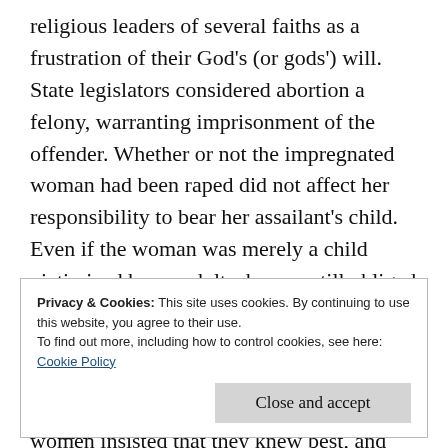religious leaders of several faiths as a frustration of their God's (or gods') will. State legislators considered abortion a felony, warranting imprisonment of the offender. Whether or not the impregnated woman had been raped did not affect her responsibility to bear her assailant's child. Even if the woman was merely a child victimized by an adult, she was still obliged to experience the “opportunity” of childbirth. There were really no exceptions. The almost entirely male legislators passing these laws affecting the lives of millions of women insisted that they knew best, and the
Privacy & Cookies: This site uses cookies. By continuing to use this website, you agree to their use.
To find out more, including how to control cookies, see here:
Cookie Policy
Close and accept
United States decided that a woman named Norma